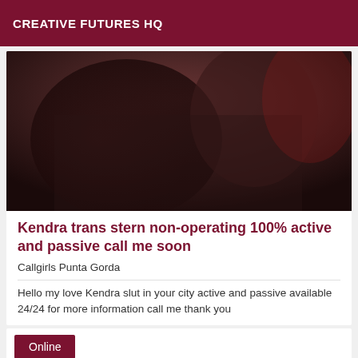CREATIVE FUTURES HQ
[Figure (photo): Close-up photo of a person wearing a dark floral lace top, with long dark hair, partial face visible showing smile and red lipstick, dark moody background]
Kendra trans stern non-operating 100% active and passive call me soon
Callgirls Punta Gorda
Hello my love Kendra slut in your city active and passive available 24/24 for more information call me thank you
Online